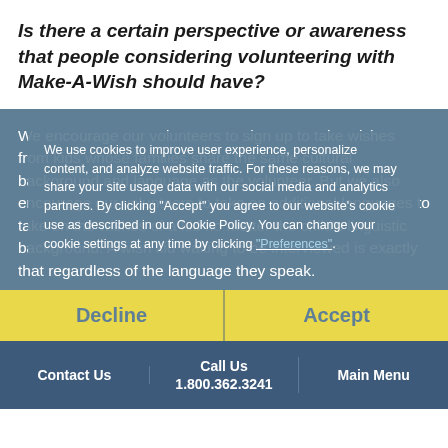Is there a certain perspective or awareness that people considering volunteering with Make-A-Wish should have?
We encourage our volunteers to sign up to take wishes from kids whose families share the same cultural background and language as the volunteer. But we also encourage our volunteers to take on additional languages to take on the wishes of a kid no matter the child's linguistic background. A wish kid waiting to be interviewed is exactly that regardless of the language they speak.
We use cookies to improve user experience, personalize content, and analyze website traffic. For these reasons, we may share your site usage data with our social media and analytics partners. By clicking "Accept" you agree to our website's cookie use as described in our Cookie Policy. You can change your cookie settings at any time by clicking "Preferences".
Contact Us | Call Us 1.800.362.3241 | Main Menu